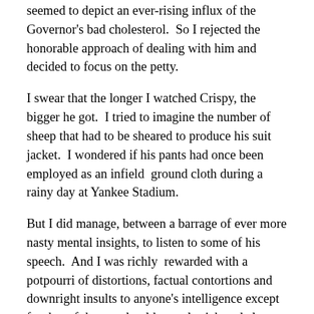seemed to depict an ever-rising influx of the Governor's bad cholesterol.  So I rejected the honorable approach of dealing with him and decided to focus on the petty.
I swear that the longer I watched Crispy, the bigger he got.  I tried to imagine the number of sheep that had to be sheared to produce his suit jacket.  I wondered if his pants had once been employed as an infield  ground cloth during a rainy day at Yankee Stadium.
But I did manage, between a barrage of ever more nasty mental insights, to listen to some of his speech.  And I was richly  rewarded with a potpourri of distortions, factual contortions and downright insults to anyone's intelligence except for that of the mostly old, mostly rich and almost universally white people who were in attendance and obviously enthralled with his words.
As his harangue grew in volume, I thought back to that old